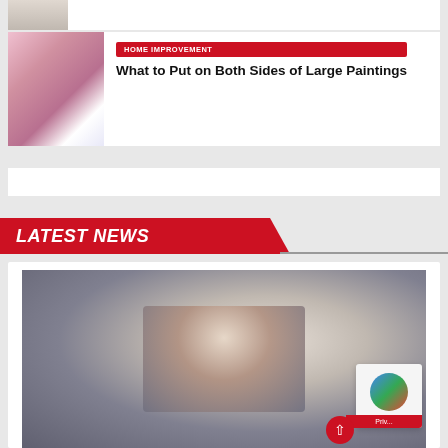[Figure (photo): Partial article card visible at top of page, cropped]
[Figure (photo): Person (woman) standing in an art gallery with large colorful paintings on the walls]
HOME IMPROVEMENT
What to Put on Both Sides of Large Paintings
LATEST NEWS
[Figure (photo): Hands using a screwdriver tool near a stainless steel sink drain]